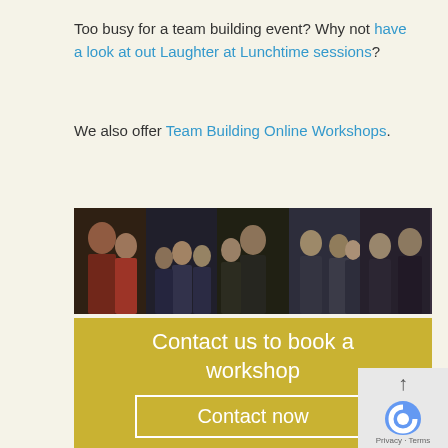Too busy for a team building event? Why not have a look at out Laughter at Lunchtime sessions?
We also offer Team Building Online Workshops.
[Figure (photo): A horizontal strip of five photos showing groups of people at a team building workshop event]
Contact us to book a workshop
Contact now